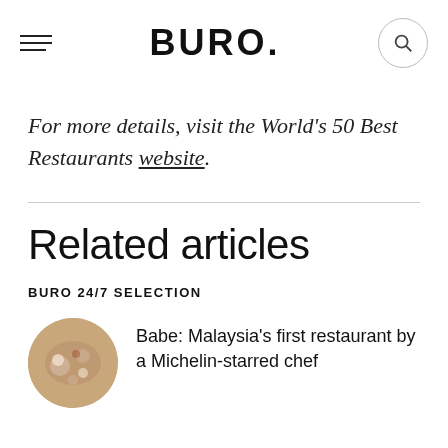BURO.
For more details, visit the World's 50 Best Restaurants website.
Related articles
BURO 24/7 SELECTION
Babe: Malaysia's first restaurant by a Michelin-starred chef